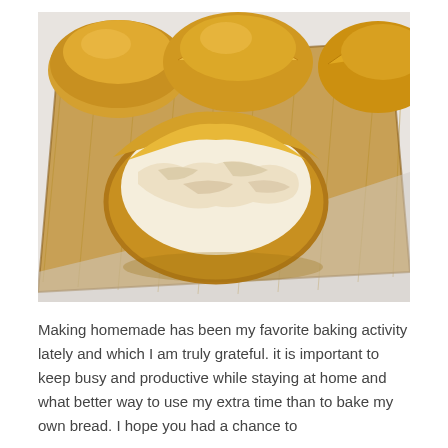[Figure (photo): Close-up photo of freshly baked bread rolls on a wooden cutting board. One roll is torn open showing the soft, fluffy white interior crumb. Several intact golden-brown rolls are visible in the background, resting on a light wood grain cutting board against a white/grey surface.]
Making homemade has been my favorite baking activity lately and which I am truly grateful. it is important to keep busy and productive while staying at home and what better way to use my extra time than to bake my own bread. I hope you had a chance to